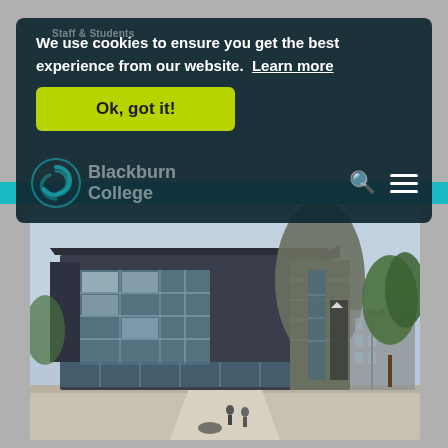Staff & Students
We use cookies to ensure you get the best experience from our website.  Learn more
Ok, got it!
[Figure (screenshot): Blackburn College website header with dark overlay showing cookie consent banner with green 'Ok, got it!' button, Blackburn College logo (swirl graphic), and navigation icons (search and hamburger menu). Below is a teal navigation bar.]
[Figure (photo): Exterior photograph of Blackburn College main building — a modern dark grey/blue building with large glass windows and a curved stone tower section labelled 'Reception'. Trees visible on the right. People walking near the entrance.]